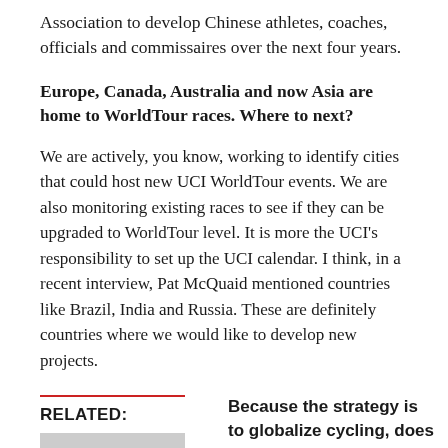Association to develop Chinese athletes, coaches, officials and commissaires over the next four years.
Europe, Canada, Australia and now Asia are home to WorldTour races. Where to next?
We are actively, you know, working to identify cities that could host new UCI WorldTour events. We are also monitoring existing races to see if they can be upgraded to WorldTour level. It is more the UCI's responsibility to set up the UCI calendar. I think, in a recent interview, Pat McQuaid mentioned countries like Brazil, India and Russia. These are definitely countries where we would like to develop new projects.
RELATED:
Because the strategy is to globalize cycling, does that mean GCP will only be targeting races in emerging countries, and not developed countries like the USA? For example, the USA does not